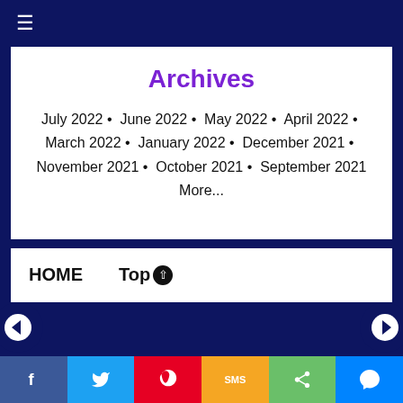☰
Archives
July 2022 • June 2022 • May 2022 • April 2022 • March 2022 • January 2022 • December 2021 • November 2021 • October 2021 • September 2021
More...
HOME   Top↑